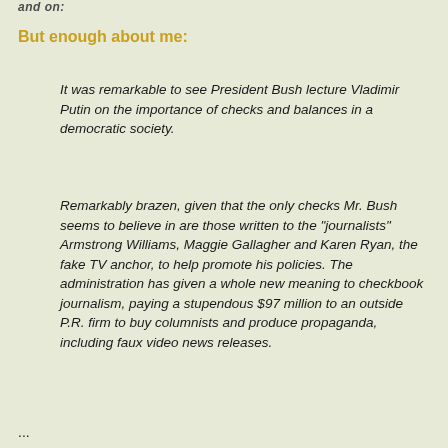and on:
But enough about me:
It was remarkable to see President Bush lecture Vladimir Putin on the importance of checks and balances in a democratic society.
Remarkably brazen, given that the only checks Mr. Bush seems to believe in are those written to the "journalists" Armstrong Williams, Maggie Gallagher and Karen Ryan, the fake TV anchor, to help promote his policies. The administration has given a whole new meaning to checkbook journalism, paying a stupendous $97 million to an outside P.R. firm to buy columnists and produce propaganda, including faux video news releases.
...